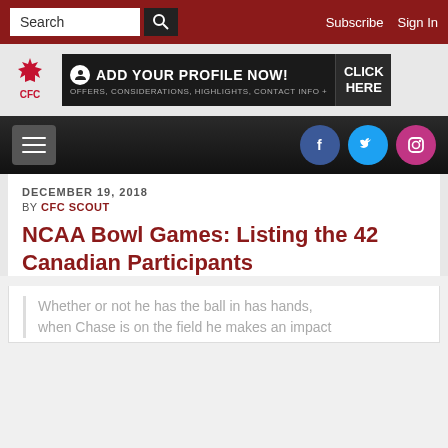Search | Subscribe | Sign In
[Figure (logo): CFC (Canadian Football Channel) logo with maple leaf and CFC text in red]
[Figure (infographic): Advertisement banner: ADD YOUR PROFILE NOW! CLICK HERE - Offers, considerations, highlights, contact info +]
[Figure (infographic): Navigation bar with hamburger menu and Facebook, Twitter, Instagram social icons]
DECEMBER 19, 2018
BY CFC SCOUT
NCAA Bowl Games: Listing the 42 Canadian Participants
Whether or not he has the ball in has hands, when Chase is on the field he makes an impact